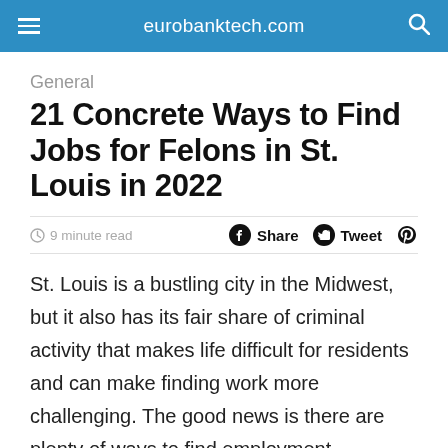eurobanktech.com
General
21 Concrete Ways to Find Jobs for Felons in St. Louis in 2022
9 minute read  Share  Tweet
St. Louis is a bustling city in the Midwest, but it also has its fair share of criminal activity that makes life difficult for residents and can make finding work more challenging. The good news is there are plenty of ways to find employment